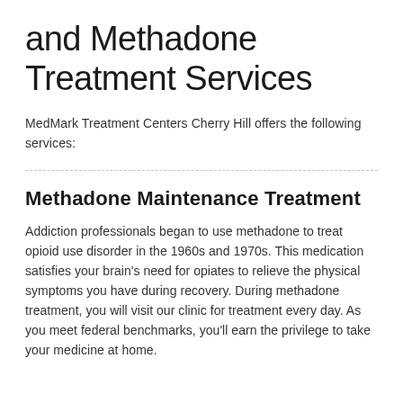and Methadone Treatment Services
MedMark Treatment Centers Cherry Hill offers the following services:
Methadone Maintenance Treatment
Addiction professionals began to use methadone to treat opioid use disorder in the 1960s and 1970s. This medication satisfies your brain's need for opiates to relieve the physical symptoms you have during recovery. During methadone treatment, you will visit our clinic for treatment every day. As you meet federal benchmarks, you'll earn the privilege to take your medicine at home.